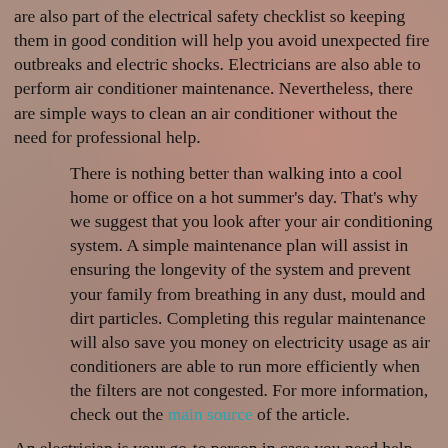are also part of the electrical safety checklist so keeping them in good condition will help you avoid unexpected fire outbreaks and electric shocks. Electricians are also able to perform air conditioner maintenance. Nevertheless, there are simple ways to clean an air conditioner without the need for professional help.
There is nothing better than walking into a cool home or office on a hot summer's day. That's why we suggest that you look after your air conditioning system. A simple maintenance plan will assist in ensuring the longevity of the system and prevent your family from breathing in any dust, mould and dirt particles. Completing this regular maintenance will also save you money on electricity usage as air conditioners are able to run more efficiently when the filters are not congested. For more information, check out the main source of the article.
An electrician is your go-to person in case you need help with anything related to electricity. It is normal for any property owner to experience electrical issues once in a